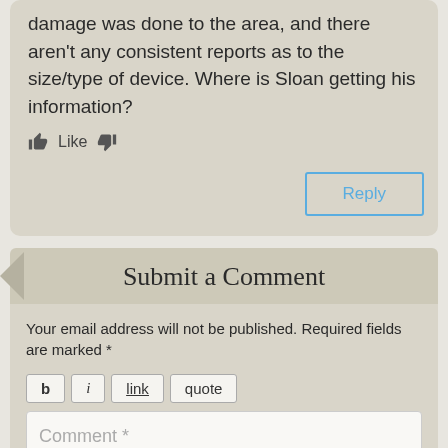damage was done to the area, and there aren't any consistent reports as to the size/type of device. Where is Sloan getting his information?
Like [thumbs up] [thumbs down]
Reply
Submit a Comment
Your email address will not be published. Required fields are marked *
b  i  link  quote
Comment *